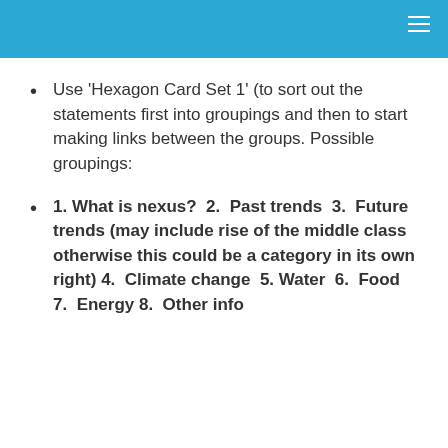Use 'Hexagon Card Set 1' (to sort out the statements first into groupings and then to start making links between the groups. Possible groupings:
1. What is nexus?  2.  Past trends  3.  Future trends (may include rise of the middle class otherwise this could be a category in its own right) 4.  Climate change  5. Water  6.  Food  7.  Energy  8.  Other info